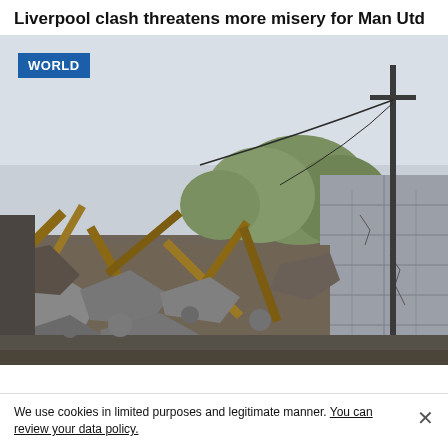Liverpool clash threatens more misery for Man Utd
[Figure (photo): Photo of a destroyed building with rubble, collapsed wooden beams and broken concrete blocks, with a utility pole visible on the right. A blue 'WORLD' badge is overlaid in the top-left corner of the image. Trees visible in the background under a pale sky.]
We use cookies in limited purposes and legitimate manner. You can review your data policy.